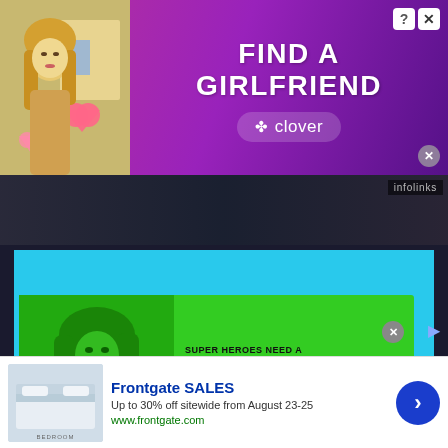[Figure (screenshot): Top banner ad with purple/pink gradient background showing a blonde woman on the left and the text 'FIND A GIRLFRIEND' with Clover app branding]
[Figure (photo): Article page content area - dark background showing partial image of people]
[Figure (photo): She-Hulk Attorney at Law billboard advertisement against blue sky. Green billboard reads: 'SUPER HEROES NEED A SUPER LAWYER! 1-877-SHE-HULK I GO GREEN, SO YOU GET GREEN.' with Marvel Studios and Disney+ branding]
[Figure (screenshot): Frontgate SALES ad: Up to 30% off sitewide from August 23-25, www.frontgate.com, showing bedroom product photo]